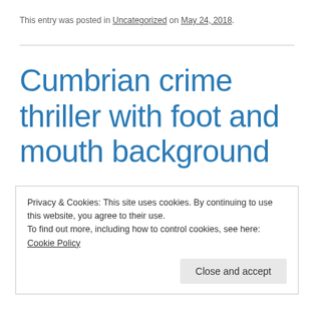This entry was posted in Uncategorized on May 24, 2018.
Cumbrian crime thriller with foot and mouth background
Privacy & Cookies: This site uses cookies. By continuing to use this website, you agree to their use.
To find out more, including how to control cookies, see here: Cookie Policy